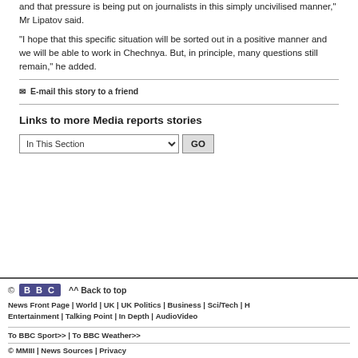and that pressure is being put on journalists in this simply uncivilised manner," Mr Lipatov said.
"I hope that this specific situation will be sorted out in a positive manner and we will be able to work in Chechnya. But, in principle, many questions still remain," he added.
E-mail this story to a friend
Links to more Media reports stories
In This Section  GO
© BBC  ^^ Back to top
News Front Page | World | UK | UK Politics | Business | Sci/Tech | H... | Entertainment | Talking Point | In Depth | AudioVideo
To BBC Sport>> | To BBC Weather>>
© MMIII | News Sources | Privacy